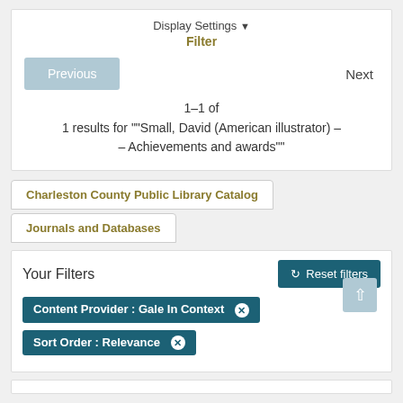Display Settings ▼
Filter
Previous
Next
1–1 of
1 results for ""Small, David (American illustrator) -
- Achievements and awards""
Charleston County Public Library Catalog
Journals and Databases
Your Filters
Reset filters
Content Provider : Gale In Context ✕
Sort Order : Relevance ✕